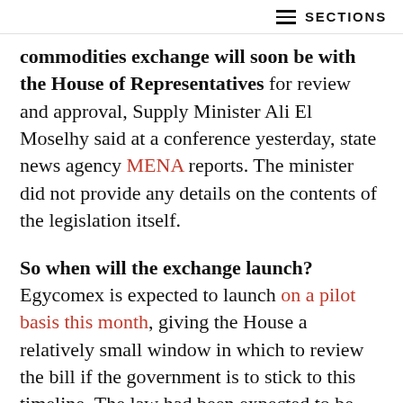≡ SECTIONS
commodities exchange will soon be with the House of Representatives for review and approval, Supply Minister Ali El Moselhy said at a conference yesterday, state news agency MENA reports. The minister did not provide any details on the contents of the legislation itself.
So when will the exchange launch? Egycomex is expected to launch on a pilot basis this month, giving the House a relatively small window in which to review the bill if the government is to stick to this timeline. The law had been expected to be submitted to parliament last year after receiving cabinet approval.